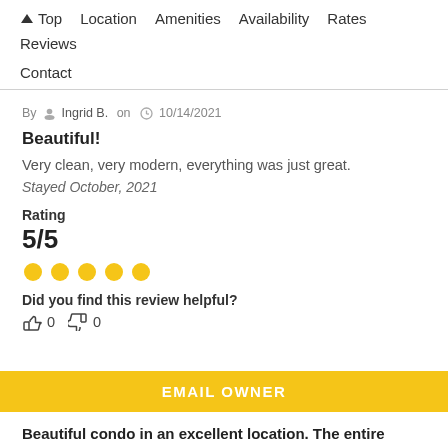↑ Top   Location   Amenities   Availability   Rates   Reviews   Contact
By Ingrid B. on 10/14/2021
Beautiful!
Very clean, very modern, everything was just great.
Stayed October, 2021
Rating
5/5
[Figure (other): Five yellow circle dots representing 5-star rating]
Did you find this review helpful?
👍 0  👎 0
EMAIL OWNER
Beautiful condo in an excellent location. The entire